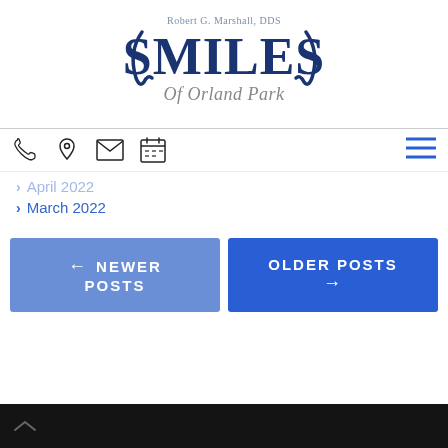[Figure (logo): Robert G. Marshall DDS Smiles of Orland Park dental practice logo with navy blue stylized text and tooth graphic]
[Figure (infographic): Navigation icon bar with phone, location pin, envelope, calendar icons on left and hamburger menu on right]
April 2022
March 2022
← NEWER POSTS
OLDER POSTS →
^